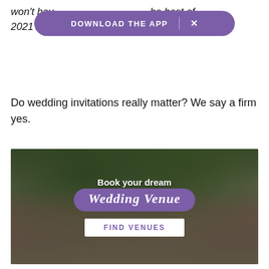won't hav... he best of 2021's sta...
[Figure (infographic): Purple pill-shaped app download banner reading 'DOWNLOAD THE APP' with an X close button]
Do wedding invitations really matter? We say a firm yes.
[Figure (photo): Advertisement for booking a wedding venue. Shows a photo of an ivy-covered stone manor house with trees. Overlay text reads 'Book your dream Wedding Venue' with a purple background behind 'Wedding Venue'. A white button at the bottom reads 'FIND VENUES'.]